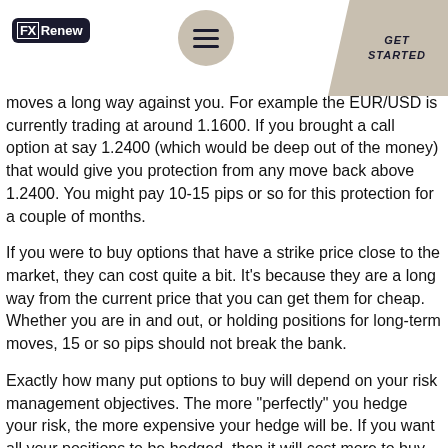FX Renew | GET STARTED
moves a long way against you. For example the EUR/USD is currently trading at around 1.1600. If you brought a call option at say 1.2400 (which would be deep out of the money) that would give you protection from any move back above 1.2400. You might pay 10-15 pips or so for this protection for a couple of months.
If you were to buy options that have a strike price close to the market, they can cost quite a bit. It’s because they are a long way from the current price that you can get them for cheap. Whether you are in and out, or holding positions for long-term moves, 15 or so pips should not break the bank.
Exactly how many put options to buy will depend on your risk management objectives. The more “perfectly” you hedge your risk, the more expensive your hedge will be. If you want all your positions to be hedged, then it will cost more to buy the options, so perhaps you will hedge any position that is greater than the size of your account. It will depend on what you are trying to achieve in the long